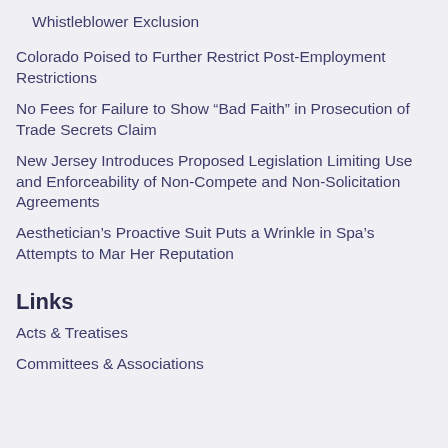Whistleblower Exclusion
Colorado Poised to Further Restrict Post-Employment Restrictions
No Fees for Failure to Show “Bad Faith” in Prosecution of Trade Secrets Claim
New Jersey Introduces Proposed Legislation Limiting Use and Enforceability of Non-Compete and Non-Solicitation Agreements
Aesthetician’s Proactive Suit Puts a Wrinkle in Spa’s Attempts to Mar Her Reputation
Links
Acts & Treatises
Committees & Associations